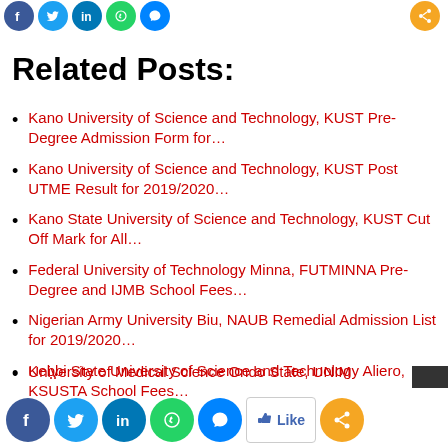[Figure (other): Social media share icons at top: Facebook, Twitter, LinkedIn, WhatsApp, Messenger, and a share icon on the right]
Related Posts:
Kano University of Science and Technology, KUST Pre-Degree Admission Form for…
Kano University of Science and Technology, KUST Post UTME Result for 2019/2020…
Kano State University of Science and Technology, KUST Cut Off Mark for All…
Federal University of Technology Minna, FUTMINNA Pre-Degree and IJMB School Fees…
Nigerian Army University Biu, NAUB Remedial Admission List for 2019/2020…
Kebbi State University of Science and Technology Aliero, KSUSTA School Fees…
University of Medical Science Ondo State, UNIM…
[Figure (other): Bottom social media bar with Facebook, Twitter, LinkedIn, WhatsApp, Messenger icons, Like button, and share icon]